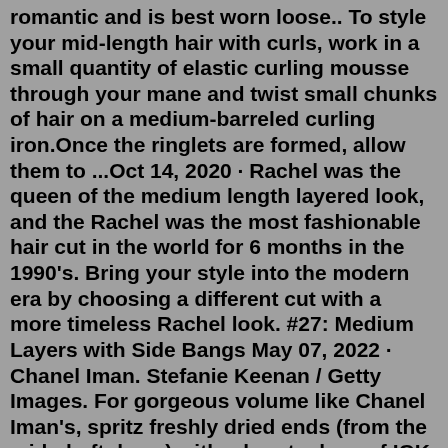romantic and is best worn loose.. To style your mid-length hair with curls, work in a small quantity of elastic curling mousse through your mane and twist small chunks of hair on a medium-barreled curling iron.Once the ringlets are formed, allow them to ...Oct 14, 2020 · Rachel was the queen of the medium length layered look, and the Rachel was the most fashionable hair cut in the world for 6 months in the 1990's. Bring your style into the modern era by choosing a different cut with a more timeless Rachel look. #27: Medium Layers with Side Bangs May 07, 2022 · Chanel Iman. Stefanie Keenan / Getty Images. For gorgeous volume like Chanel Iman's, spritz freshly dried ends (from the mid-shaft down) with a hearty dose of IGK Beach Club Texture Spray ($32). It adds a ton of mega-watt body without the crunch or stick. 03 of 30. May 15, 2018 · A blend of light and dark hair dye will further enhance the effect. So, grab this swoopy Medium Layered Haircut if you want to rock your party entrance every time! 16. Sleek,